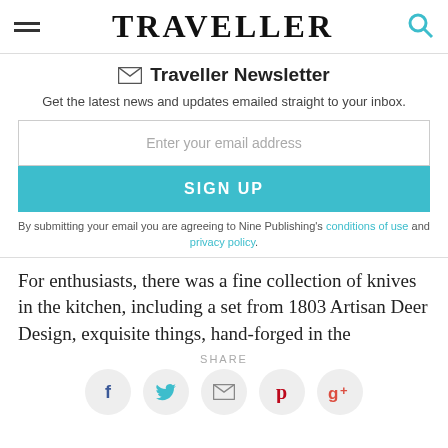TRAVELLER
✉ Traveller Newsletter
Get the latest news and updates emailed straight to your inbox.
Enter your email address
SIGN UP
By submitting your email you are agreeing to Nine Publishing's conditions of use and privacy policy.
For enthusiasts, there was a fine collection of knives in the kitchen, including a set from 1803 Artisan Deer Design, exquisite things, hand-forged in the
SHARE